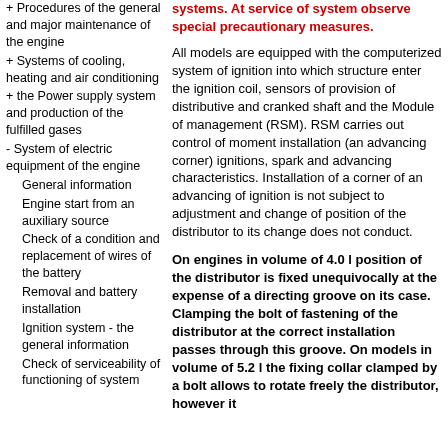+ Procedures of the general and major maintenance of the engine
+ Systems of cooling, heating and air conditioning
+ the Power supply system and production of the fulfilled gases
- System of electric equipment of the engine
General information
Engine start from an auxiliary source
Check of a condition and replacement of wires of the battery
Removal and battery installation
Ignition system - the general information
Check of serviceability of functioning of system
systems. At service of system observe special precautionary measures.
All models are equipped with the computerized system of ignition into which structure enter the ignition coil, sensors of provision of distributive and cranked shaft and the Module of management (RSM). RSM carries out control of moment installation (an advancing corner) ignitions, spark and advancing characteristics. Installation of a corner of an advancing of ignition is not subject to adjustment and change of position of the distributor to its change does not conduct.
On engines in volume of 4.0 l position of the distributor is fixed unequivocally at the expense of a directing groove on its case. Clamping the bolt of fastening of the distributor at the correct installation passes through this groove. On models in volume of 5.2 l the fixing collar clamped by a bolt allows to rotate freely the distributor, however it